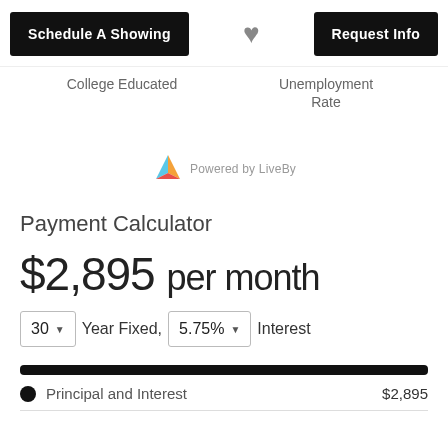Schedule A Showing | [heart] | Request Info
College Educated
Unemployment Rate
[Figure (logo): LiveBy logo with colorful triangular icon and text 'Powered by LiveBy']
Payment Calculator
$2,895 per month
30 ▾ Year Fixed, 5.75% ▾ Interest
• Principal and Interest   $2,895